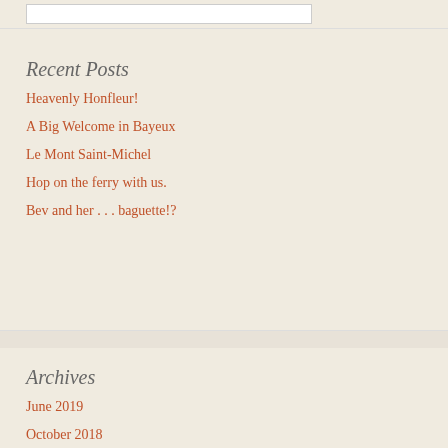Recent Posts
Heavenly Honfleur!
A Big Welcome in Bayeux
Le Mont Saint-Michel
Hop on the ferry with us.
Bev and her . . . baguette!?
Archives
June 2019
October 2018
September 2018